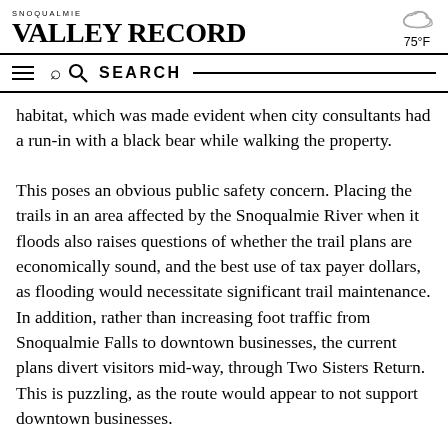SNOQUALMIE VALLEY RECORD
75°F
SEARCH
habitat, which was made evident when city consultants had a run-in with a black bear while walking the property.
This poses an obvious public safety concern. Placing the trails in an area affected by the Snoqualmie River when it floods also raises questions of whether the trail plans are economically sound, and the best use of tax payer dollars, as flooding would necessitate significant trail maintenance. In addition, rather than increasing foot traffic from Snoqualmie Falls to downtown businesses, the current plans divert visitors mid-way, through Two Sisters Return. This is puzzling, as the route would appear to not support downtown businesses.